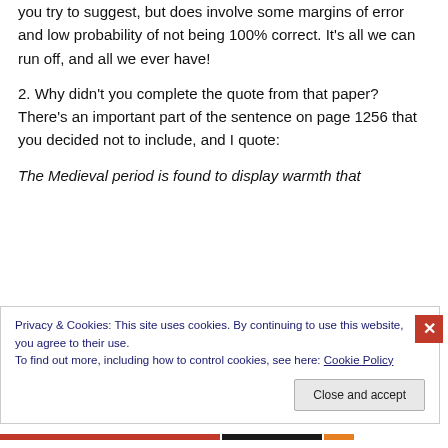you try to suggest, but does involve some margins of error and low probability of not being 100% correct. It's all we can run off, and all we ever have!
2. Why didn't you complete the quote from that paper? There's an important part of the sentence on page 1256 that you decided not to include, and I quote:
The Medieval period is found to display warmth that
Privacy & Cookies: This site uses cookies. By continuing to use this website, you agree to their use.
To find out more, including how to control cookies, see here: Cookie Policy